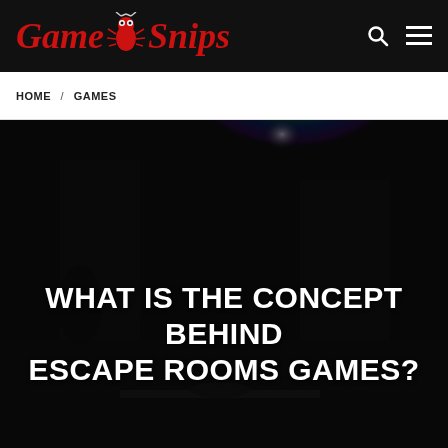Game Snips
HOME / GAMES
[Figure (photo): Dark escape room scene with colorful light projection on the ceiling and a dimly lit room interior]
WHAT IS THE CONCEPT BEHIND ESCAPE ROOMS GAMES?